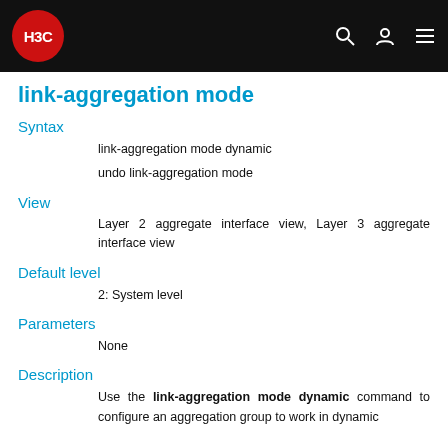H3C
link-aggregation mode
Syntax
link-aggregation mode dynamic
undo link-aggregation mode
View
Layer 2 aggregate interface view, Layer 3 aggregate interface view
Default level
2: System level
Parameters
None
Description
Use the link-aggregation mode dynamic command to configure an aggregation group to work in dynamic